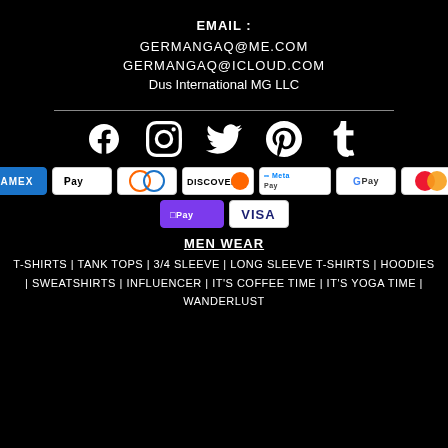EMAIL :
GERMANGAQ@ME.COM
GERMANGAQ@ICLOUD.COM
Dus International MG LLC
[Figure (infographic): Social media icons: Facebook, Instagram, Twitter, Pinterest, Tumblr]
[Figure (infographic): Payment method badges: AMEX, Apple Pay, Diners Club, Discover, Meta Pay, Google Pay, Mastercard, OPay, Visa]
MEN WEAR
T-SHIRTS | TANK TOPS | 3/4 SLEEVE | LONG SLEEVE T-SHIRTS | HOODIES | SWEATSHIRTS | INFLUENCER | IT'S COFFEE TIME | IT'S YOGA TIME | WANDERLUST